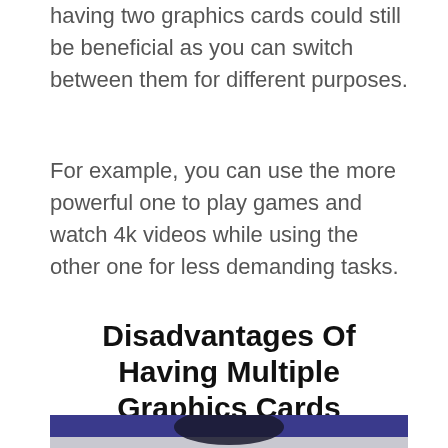having two graphics cards could still be beneficial as you can switch between them for different purposes.
For example, you can use the more powerful one to play games and watch 4k videos while using the other one for less demanding tasks.
Disadvantages Of Having Multiple Graphics Cards
[Figure (photo): Partial photo of a person or object against a dark blue/purple background, cropped at bottom of page]